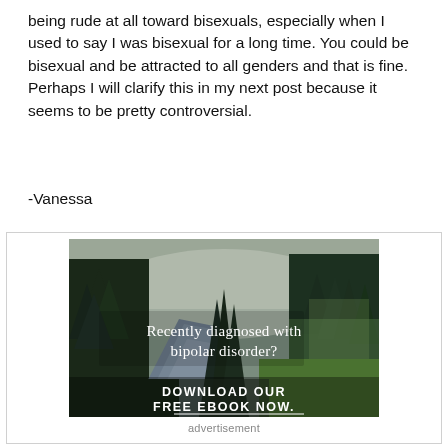being rude at all toward bisexuals, especially when I used to say I was bisexual for a long time. You could be bisexual and be attracted to all genders and that is fine. Perhaps I will clarify this in my next post because it seems to be pretty controversial.
-Vanessa
[Figure (photo): Advertisement image showing a forest scene with a river, trees, and text overlay: 'Recently diagnosed with bipolar disorder? DOWNLOAD OUR FREE EBOOK NOW.']
advertisement